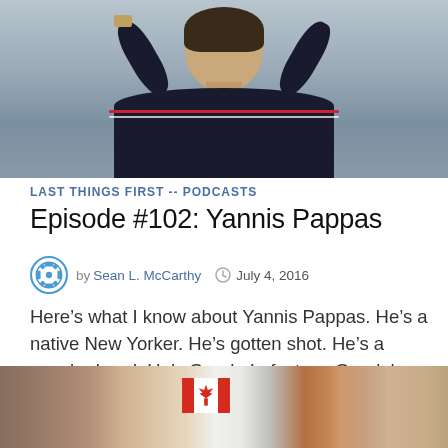[Figure (photo): Photo of Yannis Pappas, a man in a dark polo shirt with hands raised near his head, against a light background]
LAST THINGS FIRST -- PODCASTS
Episode #102: Yannis Pappas
by Sean L. McCarthy  July 4, 2016
Here’s what I know about Yannis Pappas. He’s a native New Yorker. He’s gotten shot. He’s a sneakerhead. He’s Greek. In fact, so Greek he …
[Figure (photo): Partial photo showing two people, a Canadian flag visible in the background]